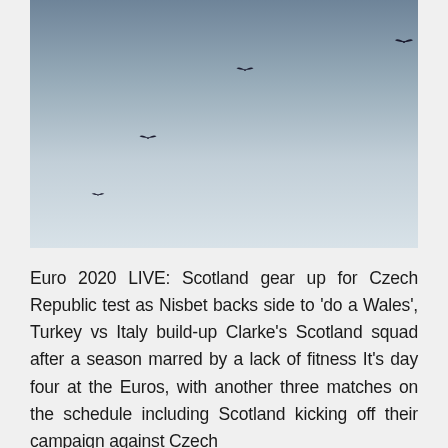[Figure (photo): Sky photo with birds flying. The sky fades from a medium blue-grey at the top to a lighter, almost white tone at the bottom. Four silhouetted birds are visible at various positions across the image.]
Euro 2020 LIVE: Scotland gear up for Czech Republic test as Nisbet backs side to 'do a Wales', Turkey vs Italy build-up Clarke's Scotland squad after a season marred by a lack of fitness It's day four at the Euros, with another three matches on the schedule including Scotland kicking off their campaign against Czech